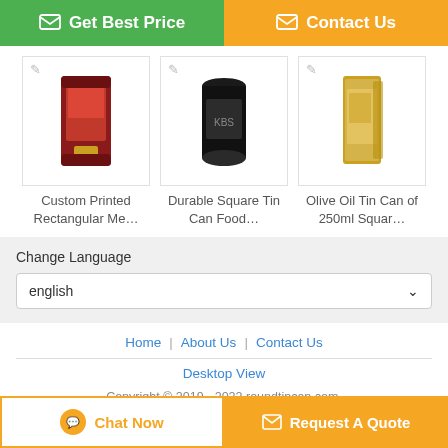[Figure (screenshot): Green 'Get Best Price' button with chat icon on the left half of the top bar]
[Figure (screenshot): Orange 'Contact Us' button with envelope icon on the right half of the top bar]
[Figure (photo): Custom Printed Rectangular Me... product tin can image (red/dark)]
Custom Printed Rectangular Me...
[Figure (photo): Durable Square Tin Can Food... product tin can image (black cylinder)]
Durable Square Tin Can Food...
[Figure (photo): Olive Oil Tin Can of 250ml Squar... product tin can image (gold/tan rectangular)]
Olive Oil Tin Can of 250ml Squar...
Change Language
english
Home | About Us | Contact Us
Desktop View
Copyright © 2019 - 2022 roundtincan.com.
All rights reserved.
[Figure (screenshot): Chat Now button (white with orange border) on the left]
[Figure (screenshot): Request A Quote button (orange) on the right]